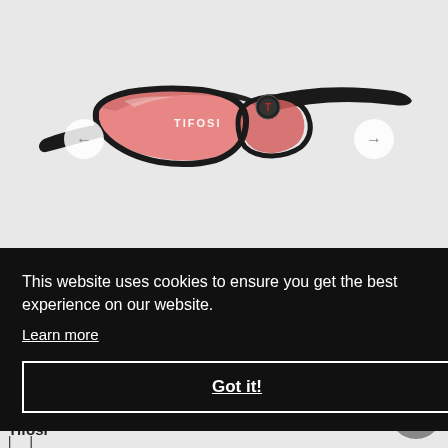[Figure (photo): Tifosi sport sunglasses with black frame and pink/red lenses, shown at an angle on a light grey background, with left and right navigation arrows on either side.]
This website uses cookies to ensure you get the best experience on our website.
Learn more
Got it!
£43.99
20% Off
Tifosi
| |